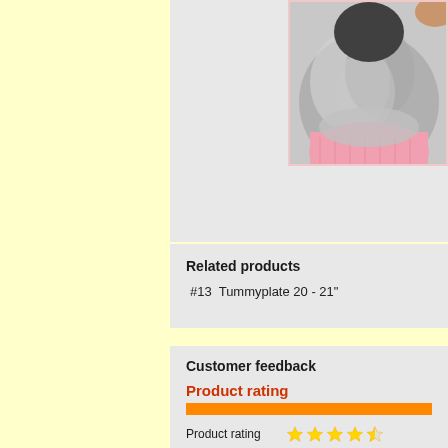[Figure (photo): Close-up photo of a fluffy gray cat or dog wearing a pink knitted sweater, partially cropped at the right edge of the image]
Related products
#13  Tummyplate 20 - 21"
Customer feedback
Product rating
Product rating    ★★★★★
Voting    Please login to rate this